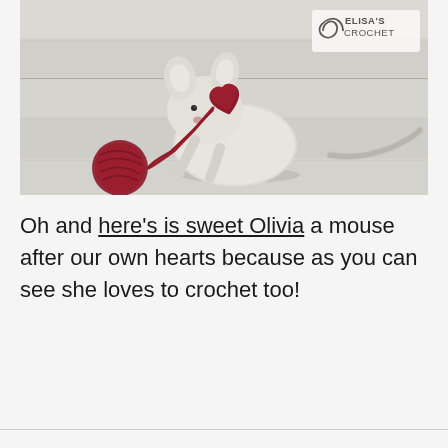[Figure (photo): A crocheted mouse amigurumi (named Olivia) sitting on a light blue-white wooden surface, holding a small red crocheted heart with red yarn trailing from it. The mouse is made of beige/cream yarn with long ears and a tail. A watermark in the top right reads 'Elisa's Crochet' with a spiral logo.]
Oh and here’s is sweet Olivia a mouse after our own hearts because as you can see she loves to crochet too!